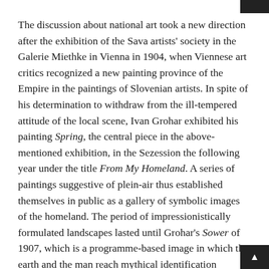The discussion about national art took a new direction after the exhibition of the Sava artists' society in the Galerie Miethke in Vienna in 1904, when Viennese art critics recognized a new painting province of the Empire in the paintings of Slovenian artists. In spite of his determination to withdraw from the ill-tempered attitude of the local scene, Ivan Grohar exhibited his painting Spring, the central piece in the above-mentioned exhibition, in the Sezession the following year under the title From My Homeland. A series of paintings suggestive of plein-air thus established themselves in public as a gallery of symbolic images of the homeland. The period of impressionistically formulated landscapes lasted until Grohar's Sower of 1907, which is a programme-based image in which the earth and the man reach mythical identification through handling of paint, and a Carniolan hayrack appears in the picture as a national attribute of the agricultural worker. Within the Slovenian artists' group Vesna, to which Maksim Gaspari, Gvidon Birolla and